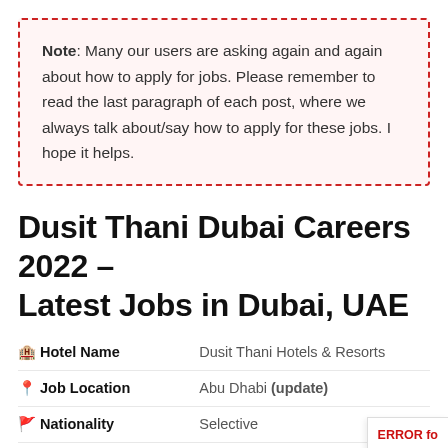Note: Many our users are asking again and again about how to apply for jobs. Please remember to read the last paragraph of each post, where we always talk about/say how to apply for these jobs. I hope it helps.
Dusit Thani Dubai Careers 2022 – Latest Jobs in Dubai, UAE
| Field | Value |
| --- | --- |
| 🏨 Hotel Name | Dusit Thani Hotels & Resorts |
| 📍 Job Location | Abu Dhabi (update) |
| 🚩 Nationality | Selective |
| 🎓 Education | Equivalent degree/dip... |